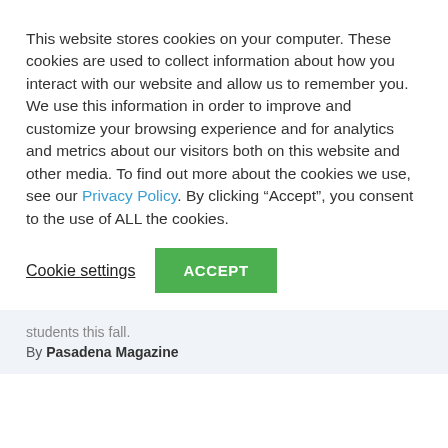This website stores cookies on your computer. These cookies are used to collect information about how you interact with our website and allow us to remember you. We use this information in order to improve and customize your browsing experience and for analytics and metrics about our visitors both on this website and other media. To find out more about the cookies we use, see our Privacy Policy. By clicking “Accept”, you consent to the use of ALL the cookies.
Cookie settings | ACCEPT
students this fall.
By Pasadena Magazine